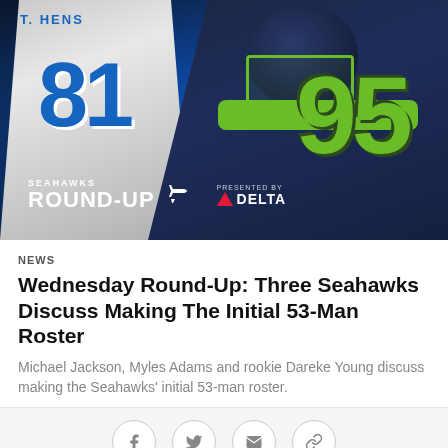[Figure (photo): Sports action photo composite: left side shows a Dallas Cowboys player jersey #81 (white uniform), right side shows a Seattle Seahawks player #95 in dark navy and neon green uniform with helmet. Seahawks Round-Up logo and Delta sponsorship overlay at bottom left.]
NEWS
Wednesday Round-Up: Three Seahawks Discuss Making The Initial 53-Man Roster
Michael Jackson, Myles Adams and rookie Dareke Young discuss making the Seahawks' initial 53-man roster.